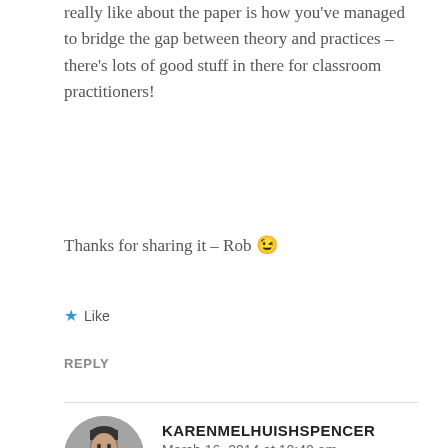really like about the paper is how you've managed to bridge the gap between theory and practices – there's lots of good stuff in there for classroom practitioners!
Thanks for sharing it – Rob 😉
★ Like
REPLY
KARENMELHUISHSPENCER
March 16, 2014 at 10:40 am
Thanks for the feedback, Rob. The concept of